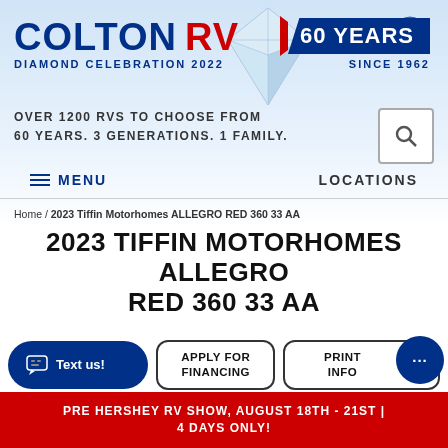[Figure (logo): Colton RV logo with '60 Years Since 1962' badge, diamond graphic, and accessibility icon on blue gradient header background]
OVER 1200 RVS TO CHOOSE FROM 60 YEARS. 3 GENERATIONS. 1 FAMILY.
MENU    LOCATIONS
Home / 2023 Tiffin Motorhomes ALLEGRO RED 360 33 AA
2023 TIFFIN MOTORHOMES ALLEGRO RED 360 33 AA
Text us!   APPLY FOR FINANCING   PRINT INFO
PRE HERSHEY RV SHOW, AUGUST 18TH - 21ST | 4 DAYS ONLY!